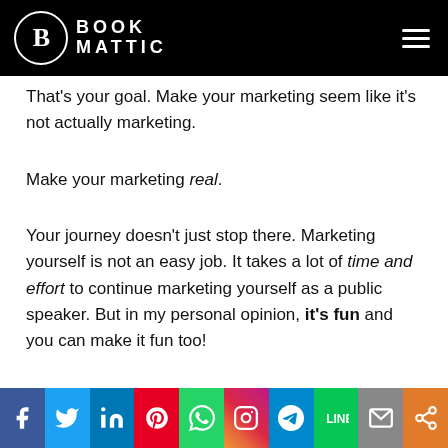BOOK MATTIC
That's your goal. Make your marketing seem like it's not actually marketing.
Make your marketing real.
Your journey doesn't just stop there. Marketing yourself is not an easy job. It takes a lot of time and effort to continue marketing yourself as a public speaker. But in my personal opinion, it's fun and you can make it fun too!
Social share bar: Facebook, Twitter, LinkedIn, Pinterest, WhatsApp, Instagram, Telegram, LINE, Email, Share